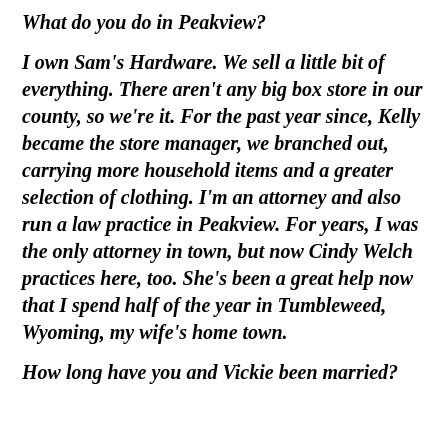What do you do in Peakview?
I own Sam's Hardware. We sell a little bit of everything. There aren't any big box store in our county, so we're it. For the past year since, Kelly became the store manager, we branched out, carrying more household items and a greater selection of clothing. I'm an attorney and also run a law practice in Peakview. For years, I was the only attorney in town, but now Cindy Welch practices here, too. She's been a great help now that I spend half of the year in Tumbleweed, Wyoming, my wife's home town.
How long have you and Vickie been married?